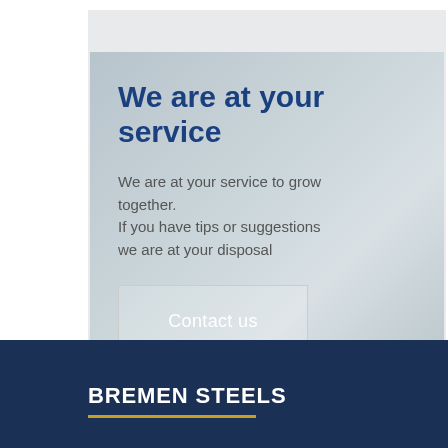We are at your service
We are at your service to grow together.
If you have tips or suggestions we are at your disposal
Contact us
BREMEN STEELS